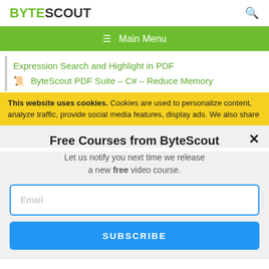BYTESCOUT
Main Menu
Expression Search and Highlight in PDF
ByteScout PDF Suite – C# – Reduce Memory
This website uses cookies. Cookies are used to personalize content, analyze traffic, provide social media features, display ads. We also share
Free Courses from ByteScout
Let us notify you next time we release a new free video course.
Email
SUBSCRIBE